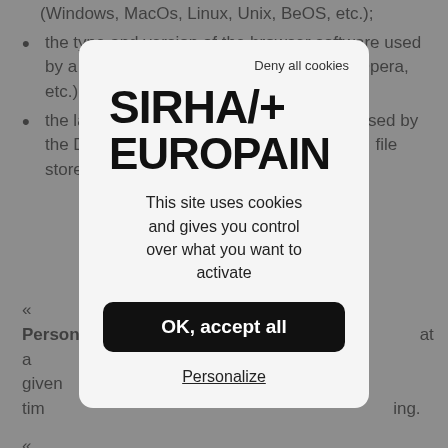(Windows, MacOs, Linux, Unix, BeOS, etc.);
the type and version of the browser software used by a Device (Internet Explorer, Firefox, Chrome, Safari, Opera, etc.);
the language and encoding of the web content used by the Device, as well as the time zone corresponding to the file stored on the Device;
« Person... at a given tim... ing.
« Device ...ablet, smartpho... iew a website,
« Adverti... sation that uses... mote its reputation, image, products or services.
[Figure (screenshot): Cookie consent modal dialog for SIRHA+ EUROPAIN website. Contains 'Deny all cookies' link, SIRHA+ EUROPAIN logo, text 'This site uses cookies and gives you control over what you want to activate', 'OK, accept all' button, and 'Personalize' link.]